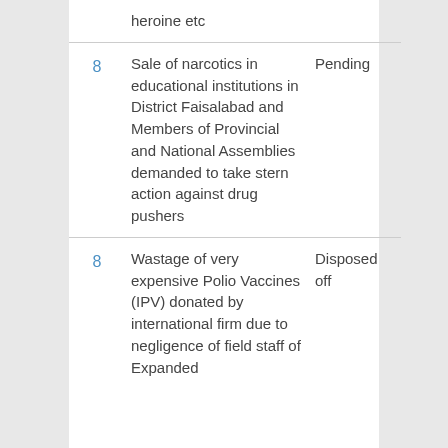| No. | Description | Status |
| --- | --- | --- |
|  | heroine etc |  |
| 8 | Sale of narcotics in educational institutions in District Faisalabad and Members of Provincial and National Assemblies demanded to take stern action against drug pushers | Pending |
| 8 | Wastage of very expensive Polio Vaccines (IPV) donated by international firm due to negligence of field staff of Expanded | Disposed off |